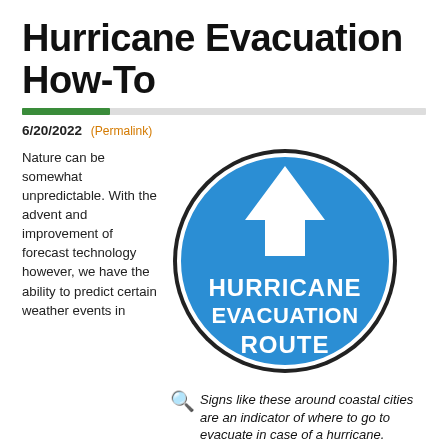Hurricane Evacuation How-To
6/20/2022 (Permalink)
Nature can be somewhat unpredictable. With the advent and improvement of forecast technology however, we have the ability to predict certain weather events in
[Figure (illustration): Blue circular hurricane evacuation route sign with white upward arrow and white text reading HURRICANE EVACUATION ROUTE]
Signs like these around coastal cities are an indicator of where to go to evacuate in case of a hurricane.